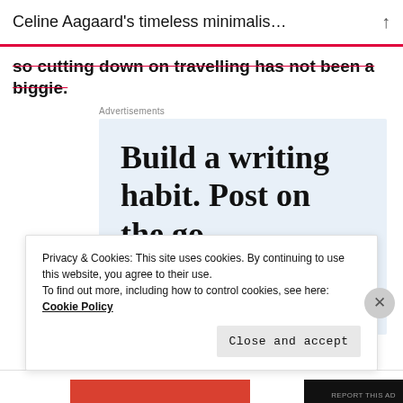Celine Aagaard's timeless minimalis...
so cutting down on travelling has not been a biggie.
Advertisements
[Figure (infographic): Advertisement with text 'Build a writing habit. Post on the go.' on a light blue background with a circular logo icon at the bottom right.]
Privacy & Cookies: This site uses cookies. By continuing to use this website, you agree to their use.
To find out more, including how to control cookies, see here: Cookie Policy
Close and accept